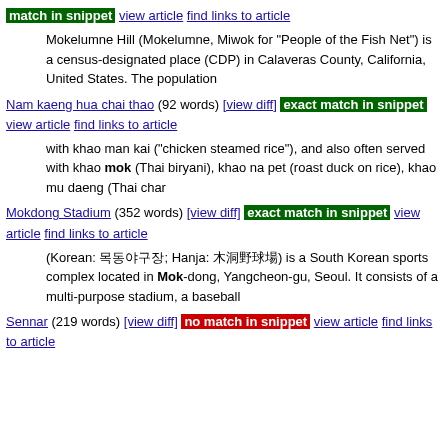match in snippet view article find links to article
Mokelumne Hill (Mokelumne, Miwok for "People of the Fish Net") is a census-designated place (CDP) in Calaveras County, California, United States. The population
Nam kaeng hua chai thao (92 words) [view diff] exact match in snippet view article find links to article
with khao man kai ("chicken steamed rice"), and also often served with khao mok (Thai biryani), khao na pet (roast duck on rice), khao mu daeng (Thai char
Mokdong Stadium (352 words) [view diff] exact match in snippet view article find links to article
(Korean: 목동야구장; Hanja: 木洞野球場) is a South Korean sports complex located in Mok-dong, Yangcheon-gu, Seoul. It consists of a multi-purpose stadium, a baseball
Sennar (219 words) [view diff] no match in snippet view article find links to article